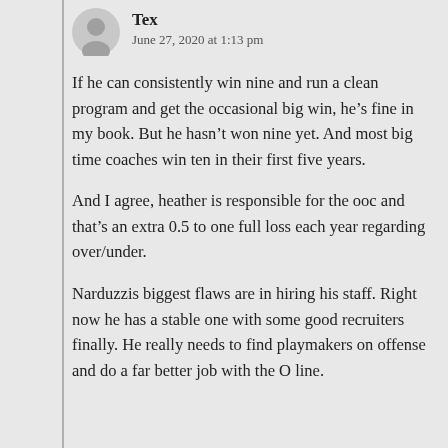Tex
June 27, 2020 at 1:13 pm
If he can consistently win nine and run a clean program and get the occasional big win, he’s fine in my book. But he hasn’t won nine yet. And most big time coaches win ten in their first five years.
And I agree, heather is responsible for the ooc and that’s an extra 0.5 to one full loss each year regarding over/under.
Narduzzis biggest flaws are in hiring his staff. Right now he has a stable one with some good recruiters finally. He really needs to find playmakers on offense and do a far better job with the O line.